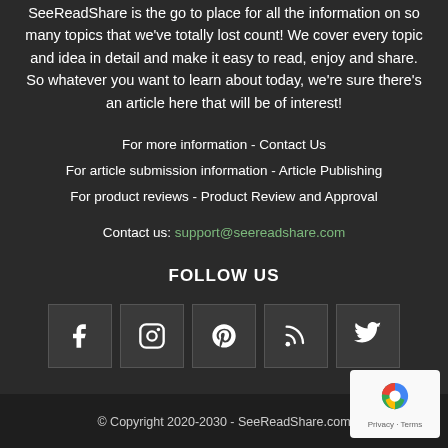SeeReadShare is the go to place for all the information on so many topics that we've totally lost count! We cover every topic and idea in detail and make it easy to read, enjoy and share. So whatever you want to learn about today, we're sure there's an article here that will be of interest!
For more information - Contact Us
For article submission information - Article Publishing
For product reviews - Product Review and Approval
Contact us: support@seereadshare.com
FOLLOW US
[Figure (infographic): Five social media icon boxes in a row: Facebook (f), Instagram, Pinterest (p), RSS feed, Twitter (bird)]
© Copyright 2020-2030 - SeeReadShare.com